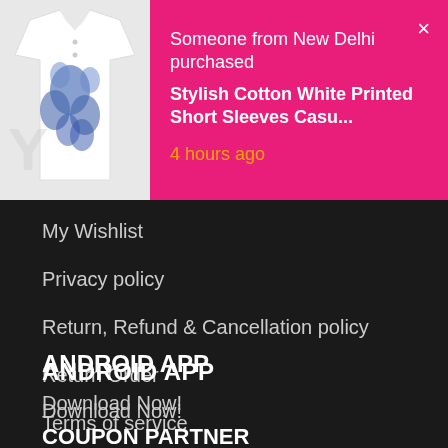[Figure (screenshot): Notification banner showing a white printed short sleeve casual shirt image on the left with pink/magenta background on the right containing purchase notification text]
Someone from New Delhi purchased
Stylish Cotton White Printed Short Sleeves Casu...
4 hours ago
My Wishlist
Privacy policy
Return, Refund & Cancellation policy
Return Order
Terms of service
ANDROID APP
Download Now!
COUPON PARTNER
Couponraja.in